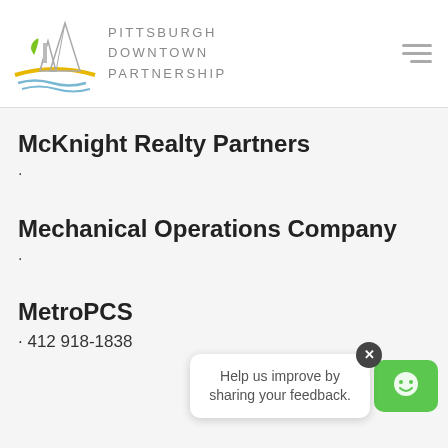[Figure (logo): Pittsburgh Downtown Partnership logo with bridge/mountain illustration and text]
McKnight Realty Partners
.
Mechanical Operations Company
.
MetroPCS
· 412 918-1838
[Figure (screenshot): Feedback popup widget: 'Help us improve by sharing your feedback.' with close X button and green smiley chat icon]